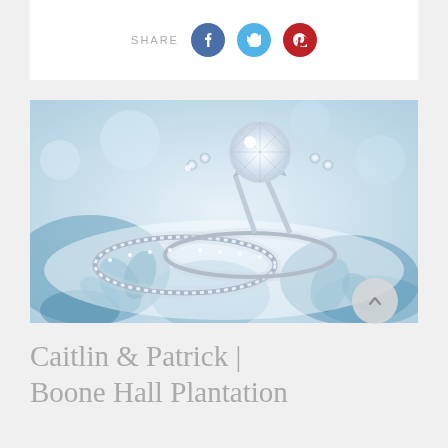SHARE
[Figure (photo): Close-up photo of two diamond rings — an engagement ring with a large round solitaire diamond and a pavé wedding band — resting on blue-and-white floral china or tissue paper.]
Caitlin & Patrick | Boone Hall Plantation